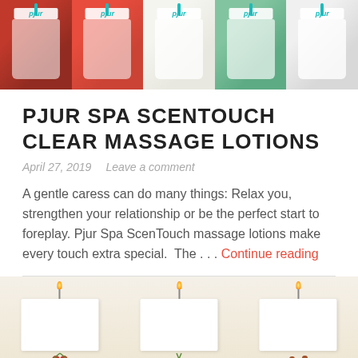[Figure (photo): Row of five pjur product bottles with colorful fruit/floral imagery and teal logo clips on top]
PJUR SPA SCENTOUCH CLEAR MASSAGE LOTIONS
April 27, 2019   Leave a comment
A gentle caress can do many things: Relax you, strengthen your relationship or be the perfect start to foreplay. Pjur Spa ScenTouch massage lotions make every touch extra special.  The . . . Continue reading
[Figure (photo): Row of three white square candle containers with lit flames and fruit/spice decorations at the bottom]